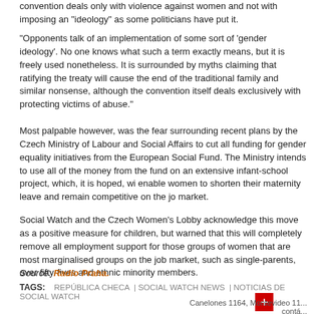convention deals only with violence against women and not with imposing an “ideology” as some politicians have put it.
“Opponents talk of an implementation of some sort of ‘gender ideology’. No one knows what such a term exactly means, but it is freely used nonetheless. It is surrounded by myths claiming that ratifying the treaty will cause the end of the traditional family and similar nonsense, although the convention itself deals exclusively with protecting victims of abuse.”
Most palpable however, was the fear surrounding recent plans by the Czech Ministry of Labour and Social Affairs to cut all funding for gender equality initiatives from the European Social Fund. The Ministry intends to use all of the money from the fund on an extensive infant-school project, which, it is hoped, will enable women to shorten their maternity leave and remain competitive on the job market.
Social Watch and the Czech Women’s Lobby acknowledge this move as a positive measure for children, but warned that this will completely remove all employment support for those groups of women that are most marginalised groups on the job market, such as single-parents, over fifty-fives and ethnic minority members.
Source: Radio Praha.
TAGS:    REPÚBLICA CHECA  |  SOCIAL WATCH NEWS  |  NOTICIAS DE SOCIAL WATCH
Canelones 1164, Montevideo 11... contá...